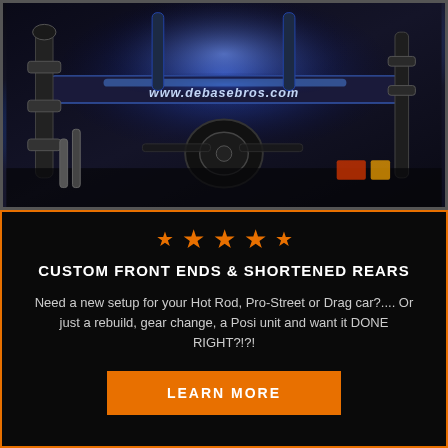[Figure (photo): Dark photo of a custom motorcycle or dragster front end with blue flame/neon graphics and text reading www.debasebros.com on the frame/axle area. Dark metallic workshop background.]
CUSTOM FRONT ENDS & SHORTENED REARS
Need a new setup for your Hot Rod, Pro-Street or Drag car?.... Or just a rebuild, gear change, a Posi unit and want it DONE RIGHT?!?!
LEARN MORE